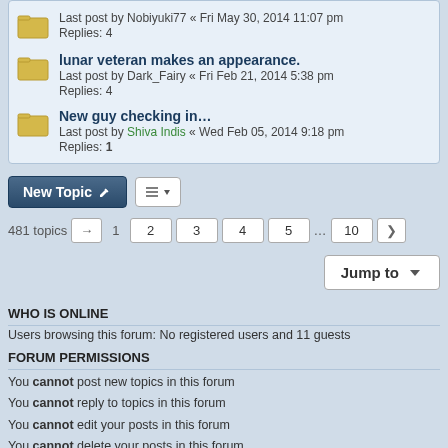Last post by Nobiyuki77 « Fri May 30, 2014 11:07 pm
Replies: 4
lunar veteran makes an appearance.
Last post by Dark_Fairy « Fri Feb 21, 2014 5:38 pm
Replies: 4
New guy checking in...
Last post by Shiva Indis « Wed Feb 05, 2014 9:18 pm
Replies: 1
481 topics  1  2  3  4  5  ...  10
Jump to
WHO IS ONLINE
Users browsing this forum: No registered users and 11 guests
FORUM PERMISSIONS
You cannot post new topics in this forum
You cannot reply to topics in this forum
You cannot edit your posts in this forum
You cannot delete your posts in this forum
You cannot post attachments in this forum
Board index   All times are UTC